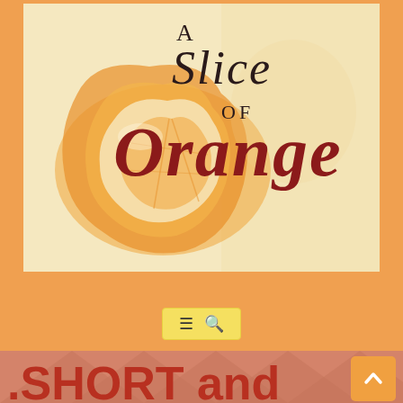[Figure (illustration): Book cover image for 'A Slice of Orange' featuring a watercolor illustration of an orange slice/peel on a light cream background, with the text 'A Slice of Orange' in serif and italic fonts. 'A' and 'OF' in dark/black, 'Slice' in dark serif italic, 'Orange' in large dark red/maroon italic script.]
[Figure (screenshot): Navigation bar with hamburger menu icon and search/magnifying glass icon on a yellow background, centered on orange background.]
.SHORT and